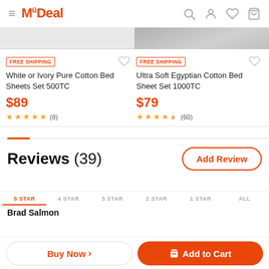MyDeal
[Figure (screenshot): Product image strip at top, partially visible product images]
FREE SHIPPING
White or Ivory Pure Cotton Bed Sheets Set 500TC
$89
★★★★★ (8)
FREE SHIPPING
Ultra Soft Egyptian Cotton Bed Sheet Set 1000TC
$79
★★★★½ (60)
Reviews (39)
5 STAR  4 STAR  3 STAR  2 STAR  1 STAR  ALL
Brad Salmon
Buy Now ›
🛒 Add to Cart